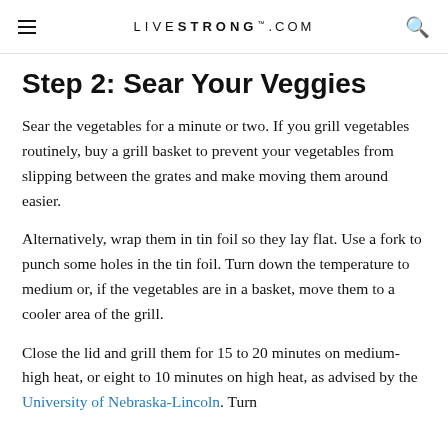LIVESTRONG.COM
Step 2: Sear Your Veggies
Sear the vegetables for a minute or two. If you grill vegetables routinely, buy a grill basket to prevent your vegetables from slipping between the grates and make moving them around easier.
Alternatively, wrap them in tin foil so they lay flat. Use a fork to punch some holes in the tin foil. Turn down the temperature to medium or, if the vegetables are in a basket, move them to a cooler area of the grill.
Close the lid and grill them for 15 to 20 minutes on medium-high heat, or eight to 10 minutes on high heat, as advised by the University of Nebraska-Lincoln. Turn